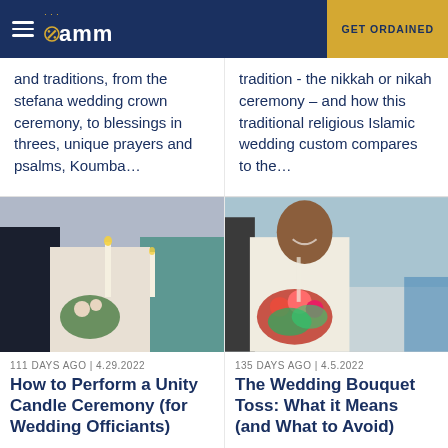amm | GET ORDAINED
and traditions, from the stefana wedding crown ceremony, to blessings in threes, unique prayers and psalms, Koumba...
tradition - the nikkah or nikah ceremony – and how this traditional religious Islamic wedding custom compares to the...
[Figure (photo): Bride and groom holding candles and flowers at a unity candle ceremony]
111 DAYS AGO | 4.29.2022
How to Perform a Unity Candle Ceremony (for Wedding Officiants)
[Figure (photo): Smiling bride holding a colorful bouquet of flowers at an outdoor wedding]
135 DAYS AGO | 4.5.2022
The Wedding Bouquet Toss: What it Means (and What to Avoid)